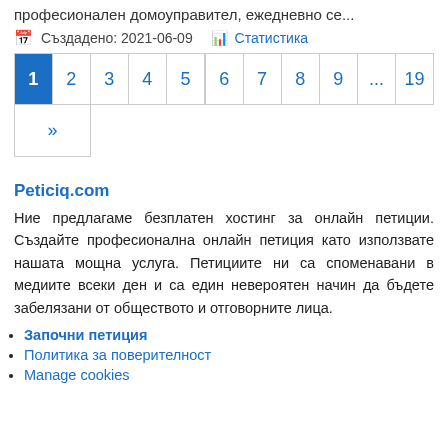професионален домоуправител, ежедневно се...
Създадено: 2021-06-09    Статистика
[Figure (other): Pagination control with pages 1 (active/highlighted), 2, 3, 4, 5, 6, 7, 8, 9, ..., 19 and a >> button]
Peticiq.com
Ние предлагаме безплатен хостинг за онлайн петиции. Създайте професионална онлайн петиция като използвате нашата мощна услуга. Петициите ни са споменавани в медиите всеки ден и са един невероятен начин да бъдете забелязани от обществото и отговорните лица.
Започни петиция
Политика за поверителност
Manage cookies